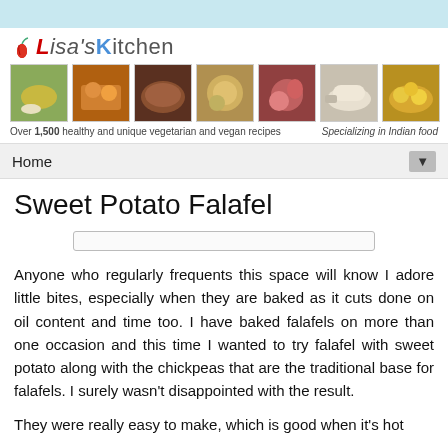[Figure (illustration): Light blue decorative top bar]
[Figure (logo): Lisa's Kitchen logo with chili pepper icon and colored text]
[Figure (photo): Row of 7 food thumbnail images showing various vegetarian dishes]
Over 1,500 healthy and unique vegetarian and vegan recipes
Specializing in Indian food
Home ▼
Sweet Potato Falafel
Anyone who regularly frequents this space will know I adore little bites, especially when they are baked as it cuts done on oil content and time too. I have baked falafels on more than one occasion and this time I wanted to try falafel with sweet potato along with the chickpeas that are the traditional base for falafels. I surely wasn't disappointed with the result.
They were really easy to make, which is good when it's hot